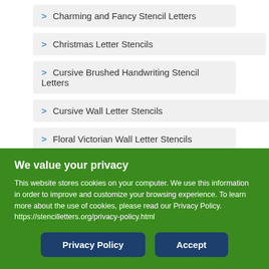> Charming and Fancy Stencil Letters
> Christmas Letter Stencils
> Cursive Brushed Handwriting Stencil Letters
> Cursive Wall Letter Stencils
> Floral Victorian Wall Letter Stencils
> Fun Handwriting Stencil Letters
> Futuristic Style Stencil Letters
> Gothic Stencil Letters
We value your privacy
This website stores cookies on your computer. We use this information in order to improve and customize your browsing experience. To learn more about the use of cookies, please read our Privacy Policy. https://stencilletters.org/privacy-policy.html
Privacy Policy  Accept